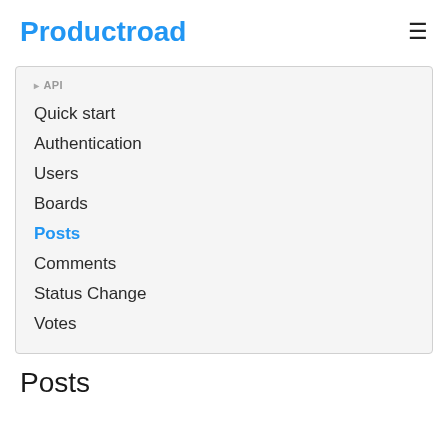Productroad
API
Quick start
Authentication
Users
Boards
Posts
Comments
Status Change
Votes
Posts